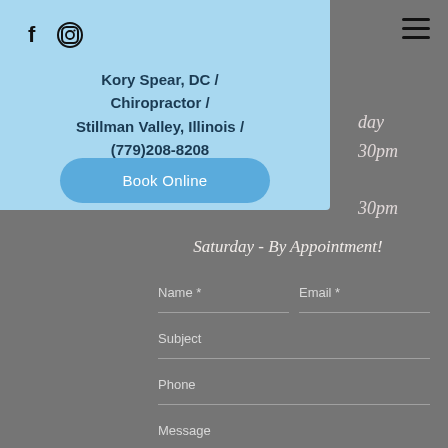[Figure (screenshot): Social media icons: Facebook (f) and Instagram circle logo on light blue background]
[Figure (other): Hamburger menu icon (three horizontal lines)]
Kory Spear, DC / Chiropractor / Stillman Valley, Illinois / (779)208-8208
Book Online
day
30pm
30pm
Saturday - By Appointment!
Name *
Email *
Subject
Phone
Message